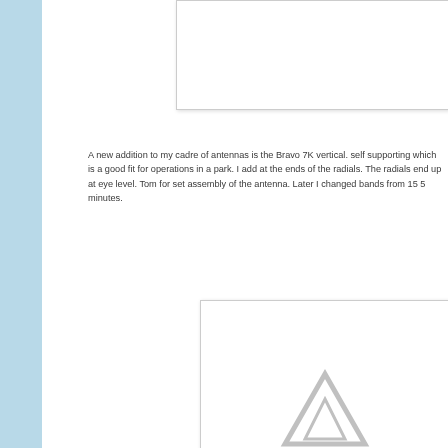[Figure (photo): Top image box, partially visible, showing white background with light border]
A new addition to my cadre of antennas is the Bravo 7K vertical. self supporting which is a good fit for operations in a park. I add at the ends of the radials. The radials end up at eye level. Tom for set assembly of the antenna. Later I changed bands from 15 5 minutes.
[Figure (photo): Bottom image box showing a partially visible triangular logo or antenna icon in light gray]